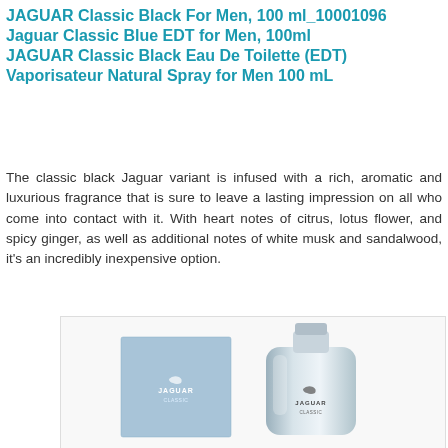JAGUAR Classic Black For Men, 100 ml_10001096
Jaguar Classic Blue EDT for Men, 100ml
JAGUAR Classic Black Eau De Toilette (EDT) Vaporisateur Natural Spray for Men 100 mL
The classic black Jaguar variant is infused with a rich, aromatic and luxurious fragrance that is sure to leave a lasting impression on all who come into contact with it. With heart notes of citrus, lotus flower, and spicy ginger, as well as additional notes of white musk and sandalwood, it's an incredibly inexpensive option.
[Figure (photo): Product photo showing a light blue rectangular box with Jaguar logo and a silver/chrome perfume bottle with Jaguar branding, Jaguar Classic Blue EDT for Men]